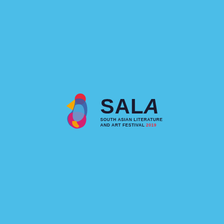[Figure (logo): SALA Festival logo: colorful abstract figure made of swirling shapes in yellow, magenta/pink, blue, and dark navy, resembling a person in motion, alongside bold text 'SALA' and subtitle 'SOUTH ASIAN LITERATURE AND ART FESTIVAL 2019']